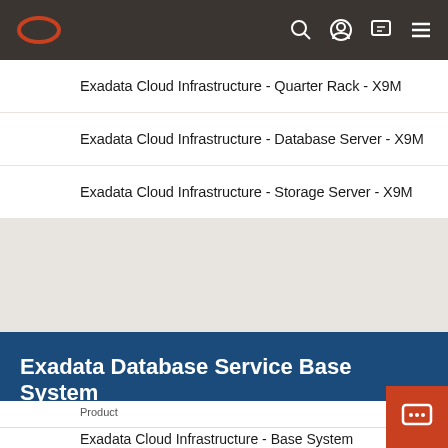Oracle navigation bar with logo and icons
Exadata Cloud Infrastructure - Quarter Rack - X9M
Exadata Cloud Infrastructure - Database Server - X9M
Exadata Cloud Infrastructure - Storage Server - X9M
Exadata Database Service Base System
Product
Exadata Cloud Infrastructure - Base System